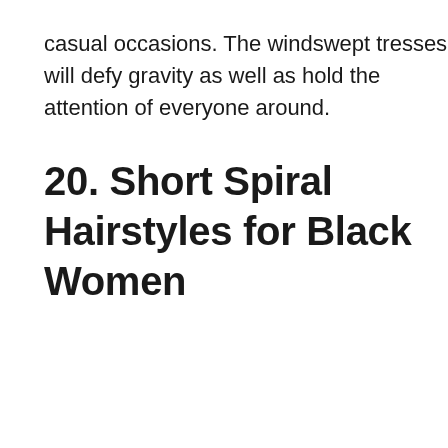casual occasions. The windswept tresses will defy gravity as well as hold the attention of everyone around.
20. Short Spiral Hairstyles for Black Women